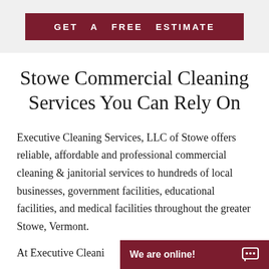GET A FREE ESTIMATE
Stowe Commercial Cleaning Services You Can Rely On
Executive Cleaning Services, LLC of Stowe offers reliable, affordable and professional commercial cleaning & janitorial services to hundreds of local businesses, government facilities, educational facilities, and medical facilities throughout the greater Stowe, Vermont.
At Executive Cleani…
We are online!